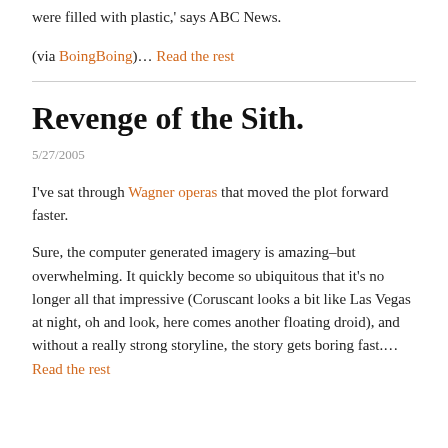were filled with plastic,' says ABC News.
(via BoingBoing)... Read the rest
Revenge of the Sith.
5/27/2005
I've sat through Wagner operas that moved the plot forward faster.
Sure, the computer generated imagery is amazing–but overwhelming. It quickly become so ubiquitous that it's no longer all that impressive (Coruscant looks a bit like Las Vegas at night, oh and look, here comes another floating droid), and without a really strong storyline, the story gets boring fast.... Read the rest